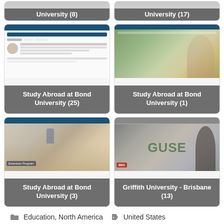[Figure (screenshot): Partial card at top-left showing bottom label: University (8)]
[Figure (screenshot): Partial card at top-right showing bottom label: University (17)]
[Figure (screenshot): Card: Study Abroad at Bond University (25) - screenshot of ABS/Bond University directory page]
[Figure (photo): Card: Study Abroad at Bond University (1) - photo of woman studying/writing]
[Figure (screenshot): Card: Study Abroad at Bond University (3) - screenshot with classroom photo]
[Figure (photo): Card: Griffith University - Brisbane (13) - photo with GUSE sign and student]
Education, North America    United States